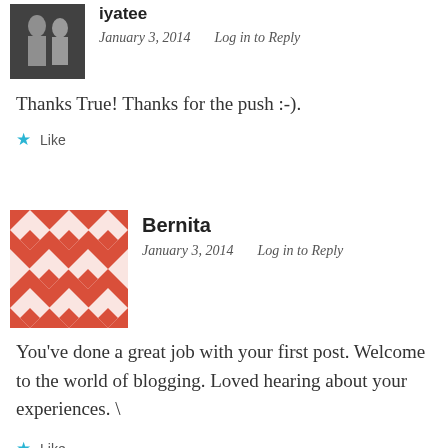[Figure (photo): Small black and white avatar photo of iyatee]
iyatee
January 3, 2014    Log in to Reply
Thanks True! Thanks for the push :-).
★ Like
[Figure (illustration): Red geometric diamond/square pattern avatar for Bernita]
Bernita
January 3, 2014    Log in to Reply
You've done a great job with your first post. Welcome to the world of blogging. Loved hearing about your experiences. \
★ Like